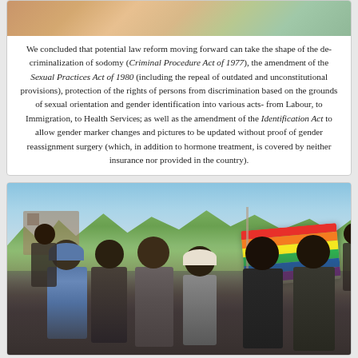[Figure (photo): Top portion of a photo showing people, partially cropped at top of page]
We concluded that potential law reform moving forward can take the shape of the decriminalization of sodomy (Criminal Procedure Act of 1977), the amendment of the Sexual Practices Act of 1980 (including the repeal of outdated and unconstitutional provisions), protection of the rights of persons from discrimination based on the grounds of sexual orientation and gender identification into various acts- from Labour, to Immigration, to Health Services; as well as the amendment of the Identification Act to allow gender marker changes and pictures to be updated without proof of gender reassignment surgery (which, in addition to hormone treatment, is covered by neither insurance nor provided in the country).
[Figure (photo): Group of people smiling and celebrating outdoors, holding a rainbow pride flag. Trees and buildings visible in background with blue sky.]